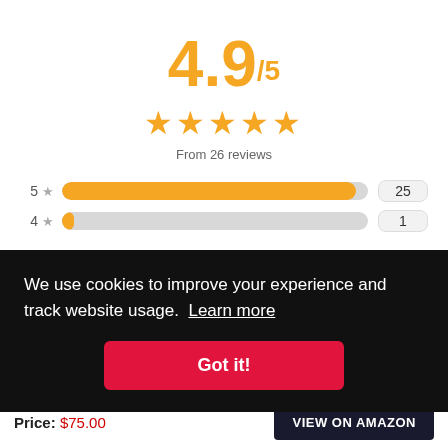4.9/5
[Figure (other): Five gold star rating icons]
From 26 reviews
5 ★ 25
4 ★ 1
We use cookies to improve your experience and track website usage. Learn more
Got it!
Price: $75.00
VIEW ON AMAZON